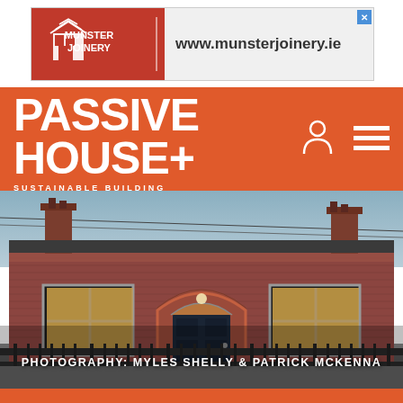[Figure (logo): Munster Joinery advertisement banner with red background, company logo, and website URL www.munsterjoinery.ie]
PASSIVE HOUSE+ SUSTAINABLE BUILDING
[Figure (photo): Exterior photograph of a Victorian-era red brick terraced house with arched front door, two sash windows with warm interior lighting, two chimneys, iron fence in foreground, twilight sky. Photography credit: Myles Shelly & Patrick McKenna]
PHOTOGRAPHY: MYLES SHELLY & PATRICK MCKENNA